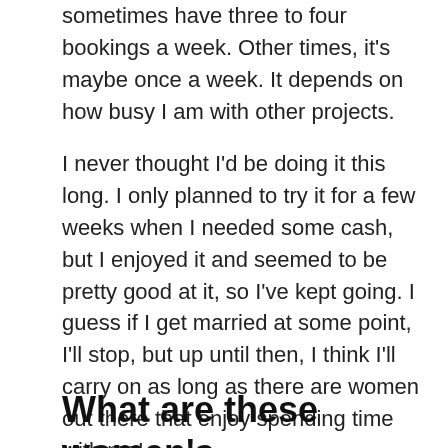sometimes have three to four bookings a week. Other times, it's maybe once a week. It depends on how busy I am with other projects.
I never thought I'd be doing it this long. I only planned to try it for a few weeks when I needed some cash, but I enjoyed it and seemed to be pretty good at it, so I've kept going. I guess if I get married at some point, I'll stop, but up until then, I think I'll carry on as long as there are women out there that enjoy spending time with me!
What are these women's